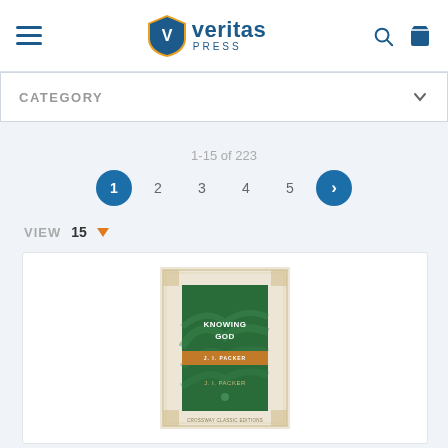[Figure (logo): Veritas Press logo with shield emblem and text 'veritas PRESS']
CATEGORY
1-15 of 223
1  2  3  4  5  >
VIEW  15
[Figure (photo): Book cover of 'Knowing God' by J.I. Packer — green cover with gold decorative border and orange band]